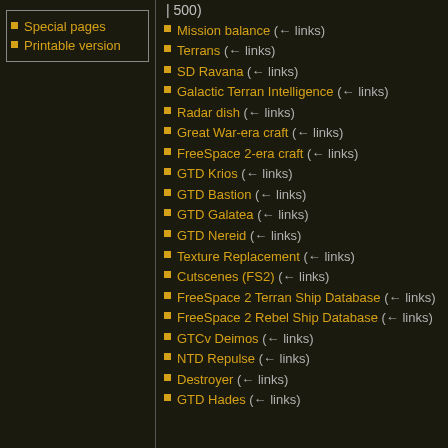| 500)
Special pages
Printable version
Mission balance  (← links)
Terrans  (← links)
SD Ravana  (← links)
Galactic Terran Intelligence  (← links)
Radar dish  (← links)
Great War-era craft  (← links)
FreeSpace 2-era craft  (← links)
GTD Krios  (← links)
GTD Bastion  (← links)
GTD Galatea  (← links)
GTD Nereid  (← links)
Texture Replacement  (← links)
Cutscenes (FS2)  (← links)
FreeSpace 2 Terran Ship Database  (← links)
FreeSpace 2 Rebel Ship Database  (← links)
GTCv Deimos  (← links)
NTD Repulse  (← links)
Destroyer  (← links)
GTD Hades  (← links)